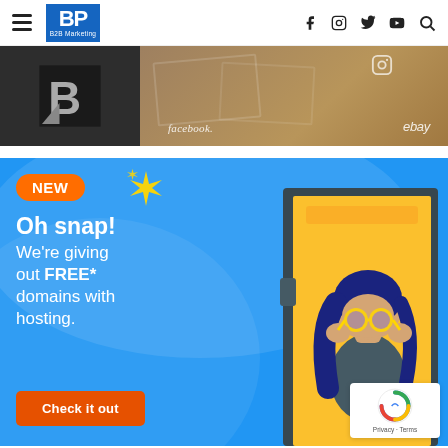BP B2B Marketing — navigation header with hamburger menu, logo, and social icons (Facebook, Instagram, Twitter, YouTube, Search)
[Figure (photo): Banner image showing a stylized B logo on dark background on the left, and cardboard boxes with social media logos (Instagram, Facebook, ebay) on the right]
[Figure (infographic): Advertisement: Blue background with 'NEW' badge in orange, sparkles, text 'Oh snap! We're giving out FREE* domains with hosting.' and an orange 'Check it out' button. Right side shows illustrated girl in yellow doorframe looking through binoculars.]
[Figure (logo): reCAPTCHA badge with Privacy and Terms text]